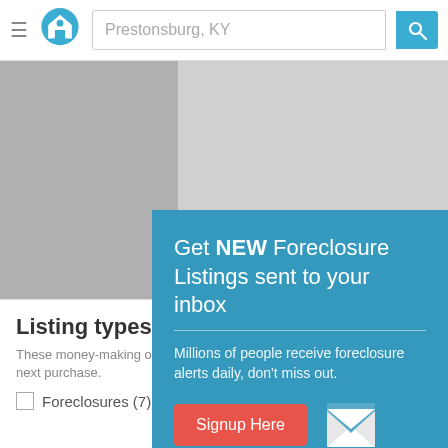[Figure (screenshot): Website header with hamburger menu, house logo, search bar with 'Prestonsburg, KY' text, and teal search button with magnifier icon]
[Figure (screenshot): Gray map area placeholder showing a map of the Prestonsburg, KY region with a darker left panel]
[Figure (screenshot): Teal popup modal: 'Get NEW Foreclosure Listings sent to your inbox' with subtext 'Millions of people receive foreclosure alerts daily, don't miss out.' Red 'Signup Here' button, envelope icon, and 'No Thanks | Remind Me Later' link]
Listing types
These money-making opportunities can deliver huge savings on your next purchase.
Foreclosures (7)